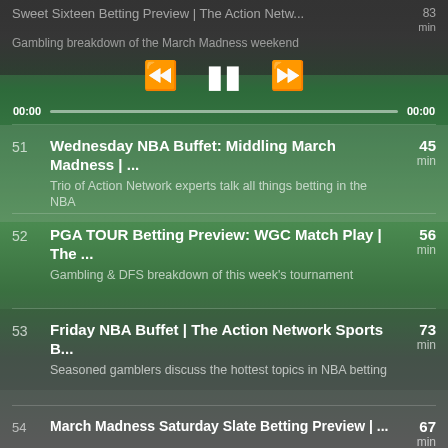Sweet Sixteen Betting Preview | The Action Netw... Gambling breakdown of the March Madness weekend  83 min
[Figure (screenshot): Media player playback controls: rewind, pause, and fast-forward buttons]
00:00  [progress bar]  00:00
51  Wednesday NBA Buffet: Middling March Madness | ...  Trio of Action Network experts talk all things betting in the NBA  45 min
52  PGA TOUR Betting Preview: WGC Match Play | The ...  Gambling & DFS breakdown of this week's tournament  56 min
53  Friday NBA Buffet | The Action Network Sports B...  Seasoned gamblers discuss the hottest topics in NBA betting  73 min
54  March Madness Saturday Slate Betting Preview | ...  Exhaustive gambling breakdown of every Saturday Round 1 matchup  67 min
55  March Madness Friday Slate Betting Preview |  87